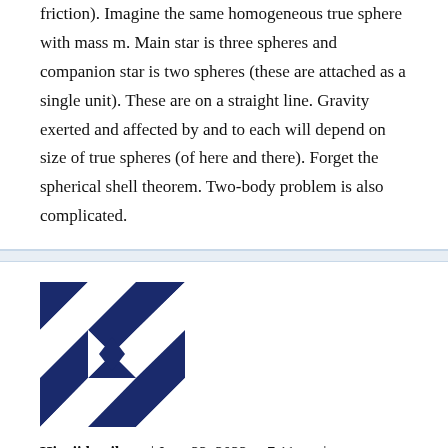friction). Imagine the same homogeneous true sphere with mass m. Main star is three spheres and companion star is two spheres (these are attached as a single unit). These are on a straight line. Gravity exerted and affected by and to each will depend on size of true spheres (of here and there). Forget the spherical shell theorem. Two-body problem is also complicated.
[Figure (illustration): Avatar icon — geometric quilt/pinwheel pattern in dark navy blue and white triangles]
Hiroji kurihara | June 22, 2022 at 7:11 pm | Reply